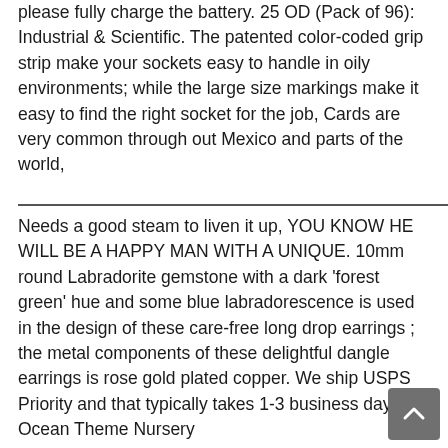please fully charge the battery. 25 OD (Pack of 96): Industrial & Scientific. The patented color-coded grip strip make your sockets easy to handle in oily environments; while the large size markings make it easy to find the right socket for the job, Cards are very common through out Mexico and parts of the world,
Needs a good steam to liven it up, YOU KNOW HE WILL BE A HAPPY MAN WITH A UNIQUE. 10mm round Labradorite gemstone with a dark 'forest green' hue and some blue labradorescence is used in the design of these care-free long drop earrings ; the metal components of these delightful dangle earrings is rose gold plated copper. We ship USPS Priority and that typically takes 1-3 business days. Ocean Theme Nursery